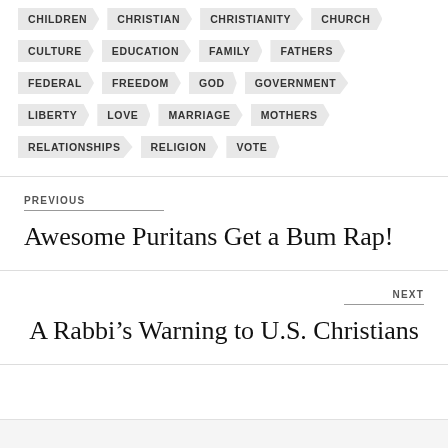CHILDREN
CHRISTIAN
CHRISTIANITY
CHURCH
CULTURE
EDUCATION
FAMILY
FATHERS
FEDERAL
FREEDOM
GOD
GOVERNMENT
LIBERTY
LOVE
MARRIAGE
MOTHERS
RELATIONSHIPS
RELIGION
VOTE
PREVIOUS
Awesome Puritans Get a Bum Rap!
NEXT
A Rabbi’s Warning to U.S. Christians